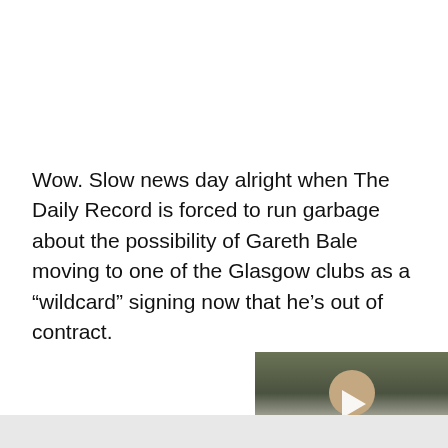Wow. Slow news day alright when The Daily Record is forced to run garbage about the possibility of Gareth Bale moving to one of the Glasgow clubs as a “wildcard” signing now that he’s out of contract.
[Figure (screenshot): Embedded video player showing a man in a white shirt seated against an olive/green background, with a play button overlay and a close (X) button in the bottom right corner.]